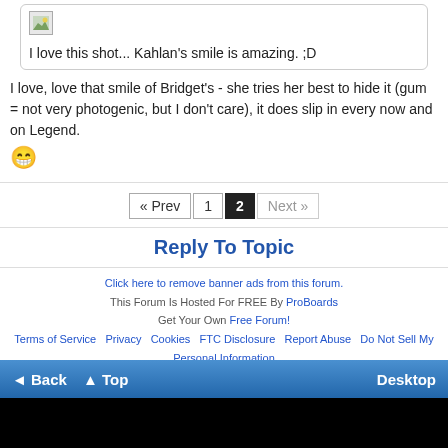[Figure (screenshot): Forum post box with a small image placeholder and text: I love this shot... Kahlan's smile is amazing. ;D]
I love, love that smile of Bridget's - she tries her best to hide it (gum = not very photogenic, but I don't care), it does slip in every now and on Legend. 😁
« Prev  1  2  Next »
Reply To Topic
Click here to remove banner ads from this forum.
This Forum Is Hosted For FREE By ProBoards
Get Your Own Free Forum!
Terms of Service  Privacy  Cookies  FTC Disclosure  Report Abuse  Do Not Sell My Personal Information
◄ Back  ▲ Top  Desktop